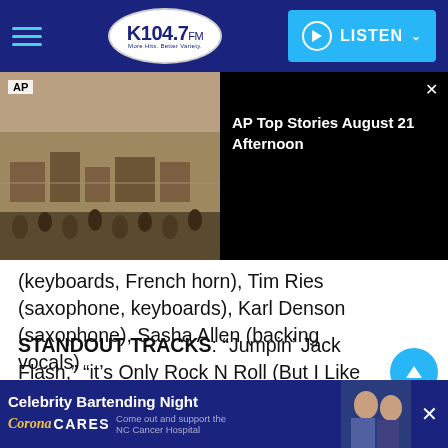K104.7 FM — LISTEN
[Figure (screenshot): AP news video thumbnail showing aerial view of flooded area with mud buildings, alongside AP Top Stories August 21 Afternoon title on black background]
(keyboards, French horn), Tim Ries (saxophone, keyboards), Karl Denson (saxophone), Sasha Allen (backing vocals)
STANDOUT TRACKS: “Jumpin’ Jack Flash,” “it’s Only Rock N Roll (But I Like It),” “All Down The Line”
In 2016, there weren’t too many places that the
[Figure (screenshot): Celebrity Bartending Night advertisement for Corona Cares — Come out and support the NC Cancer Hospital]